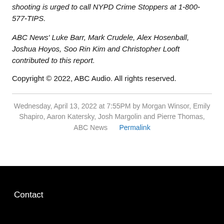shooting is urged to call NYPD Crime Stoppers at 1-800-577-TIPS.
ABC News' Luke Barr, Mark Crudele, Alex Hosenball, Joshua Hoyos, Soo Rin Kim and Christopher Looft contributed to this report.
Copyright © 2022, ABC Audio. All rights reserved.
Wednesday, April 13, 2022 at 7:55PM by Morgan Winsor, Emily Shapiro, Aaron Katersky, Josh Margolin and Pierre Thomas, ABC News  Permalink
Contact